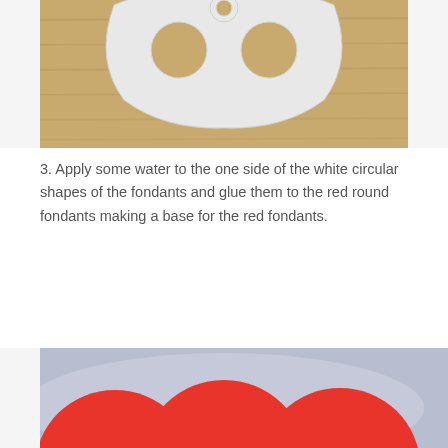[Figure (photo): Top portion of a photo showing white fondant cutout shapes (circular and teardrop shapes with holes) on a wooden surface background.]
3. Apply some water to the one side of the white circular shapes of the fondants and glue them to the red round fondants making a base for the red fondants.
[Figure (photo): Photo of three red round fondant balls each with a white semi-circular flat base attached at the bottom, sitting on a wooden surface with a blurred grey background.]